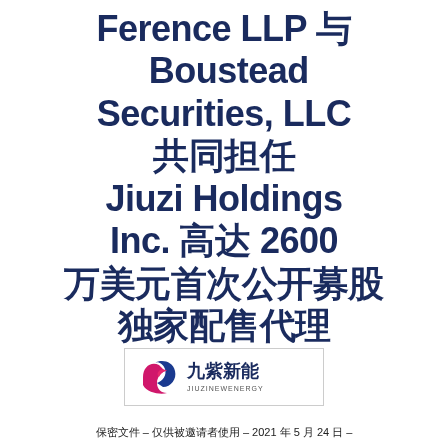Ference LLP 与 Boustead Securities, LLC 共同担任 Jiuzi Holdings Inc. 高达 2600 万美元首次公开募股 独家配售代理
[Figure (logo): Jiuzi New Energy (九紫新能) company logo with stylized SB icon in pink/magenta and blue]
保密文件 – 仅供被邀请者使用 – 2021 年 5 月 24 日 –